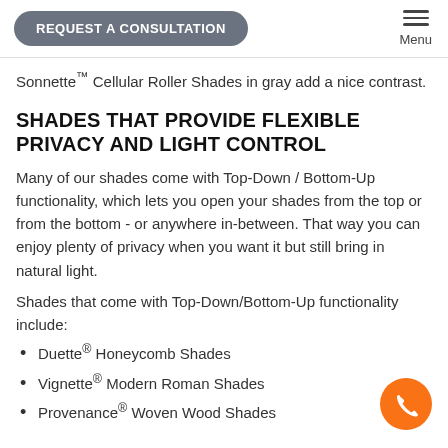REQUEST A CONSULTATION | Menu
Sonnette™ Cellular Roller Shades in gray add a nice contrast.
SHADES THAT PROVIDE FLEXIBLE PRIVACY AND LIGHT CONTROL
Many of our shades come with Top-Down / Bottom-Up functionality, which lets you open your shades from the top or from the bottom - or anywhere in-between. That way you can enjoy plenty of privacy when you want it but still bring in natural light.
Shades that come with Top-Down/Bottom-Up functionality include:
Duette® Honeycomb Shades
Vignette® Modern Roman Shades
Provenance® Woven Wood Shades